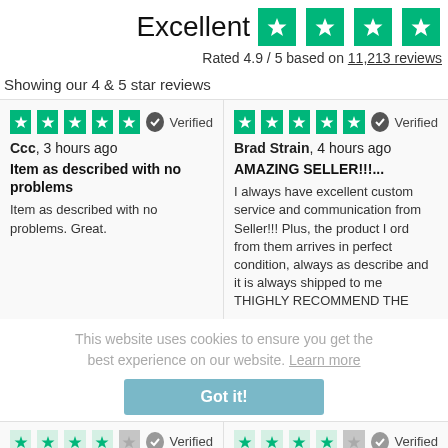Excellent
Rated 4.9 / 5 based on 11,213 reviews
Showing our 4 & 5 star reviews
Ccc, 3 hours ago
Item as described with no problems
Item as described with no problems. Great.
Brad Strain, 4 hours ago
AMAZING SELLER!!!...
I always have excellent custom service and communication from Seller!!! Plus, the product I ord from them arrives in perfect condition, always as describe and it is always shipped to me THIGHLY RECOMMEND THE
This website uses cookies to ensure you get the best experience on our website. Learn more
Luke Lariat, 12 hours ago
A pleasure to deal with
Easy, hassle-free transaction - never a bother
Verified